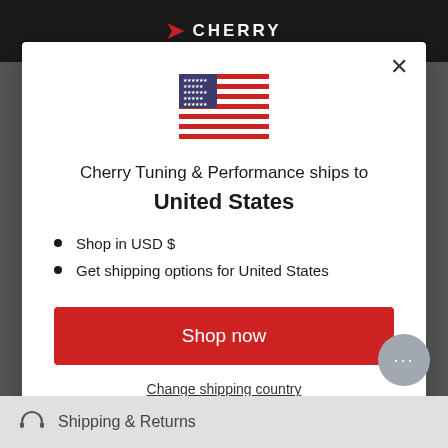[Figure (screenshot): Dark top navigation bar with Cherry Tuning & Performance logo in red]
[Figure (illustration): US flag emoji/icon]
Cherry Tuning & Performance ships to
United States
Shop in USD $
Get shipping options for United States
Shop now
Change shipping country
Shipping & Returns